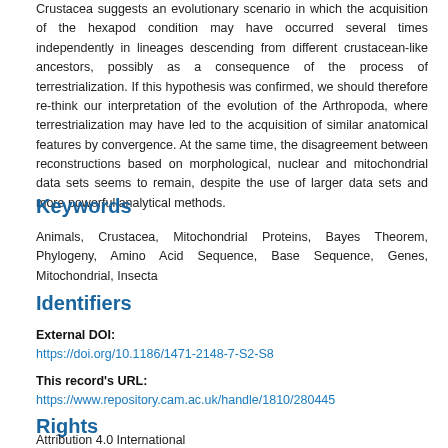Crustacea suggests an evolutionary scenario in which the acquisition of the hexapod condition may have occurred several times independently in lineages descending from different crustacean-like ancestors, possibly as a consequence of the process of terrestrialization. If this hypothesis was confirmed, we should therefore re-think our interpretation of the evolution of the Arthropoda, where terrestrialization may have led to the acquisition of similar anatomical features by convergence. At the same time, the disagreement between reconstructions based on morphological, nuclear and mitochondrial data sets seems to remain, despite the use of larger data sets and more powerful analytical methods.
Keywords
Animals, Crustacea, Mitochondrial Proteins, Bayes Theorem, Phylogeny, Amino Acid Sequence, Base Sequence, Genes, Mitochondrial, Insecta
Identifiers
External DOI:
https://doi.org/10.1186/1471-2148-7-S2-S8
This record's URL:
https://www.repository.cam.ac.uk/handle/1810/280445
Rights
Attribution 4.0 International